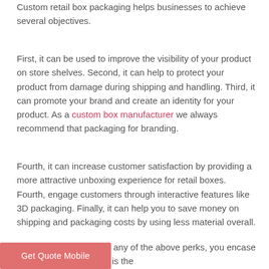Custom retail box packaging helps businesses to achieve several objectives.
First, it can be used to improve the visibility of your product on store shelves. Second, it can help to protect your product from damage during shipping and handling. Third, it can promote your brand and create an identity for your product. As a custom box manufacturer we always recommend that packaging for branding.
Fourth, it can increase customer satisfaction by providing a more attractive unboxing experience for retail boxes. Fourth, engage customers through interactive features like 3D packaging. Finally, it can help you to save money on shipping and packaging costs by using less material overall.
Even if you do not have any of the above perks, you encase your products. And that is the retail box can give you in a brief period